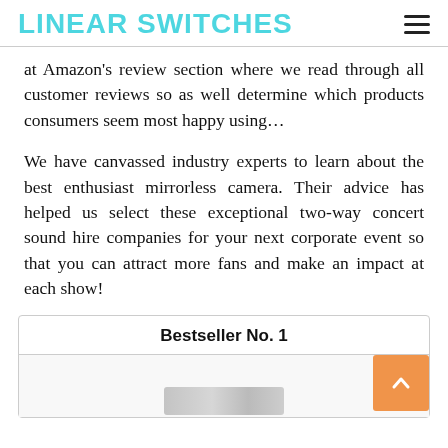LINEAR SWITCHES
at Amazon's review section where we read through all customer reviews so as well determine which products consumers seem most happy using…
We have canvassed industry experts to learn about the best enthusiast mirrorless camera. Their advice has helped us select these exceptional two-way concert sound hire companies for your next corporate event so that you can attract more fans and make an impact at each show!
Bestseller No. 1
[Figure (photo): Partially visible product image at the bottom of a bestseller box card]